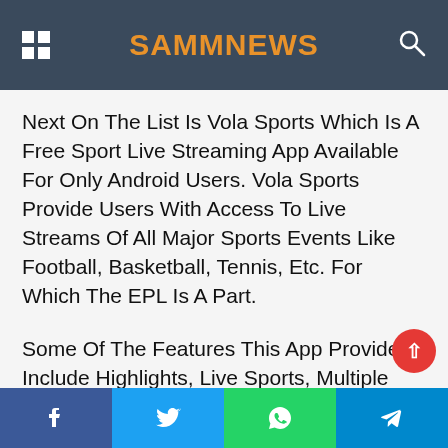SAMMNEWS
Next On The List Is Vola Sports Which Is A Free Sport Live Streaming App Available For Only Android Users. Vola Sports Provide Users With Access To Live Streams Of All Major Sports Events Like Football, Basketball, Tennis, Etc. For Which The EPL Is A Part.
Some Of The Features This App Provides Include Highlights, Live Sports, Multiple Links, And Countdowns, And Many Other Amazing Features. In Terms Of The Interface, It Is Easy And Can Be Used
Facebook | Twitter | WhatsApp | Telegram